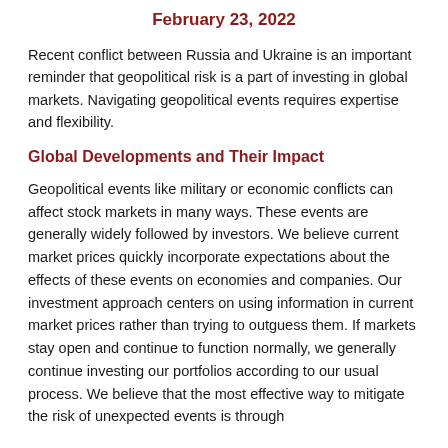February 23, 2022
Recent conflict between Russia and Ukraine is an important reminder that geopolitical risk is a part of investing in global markets. Navigating geopolitical events requires expertise and flexibility.
Global Developments and Their Impact
Geopolitical events like military or economic conflicts can affect stock markets in many ways. These events are generally widely followed by investors. We believe current market prices quickly incorporate expectations about the effects of these events on economies and companies. Our investment approach centers on using information in current market prices rather than trying to outguess them. If markets stay open and continue to function normally, we generally continue investing our portfolios according to our usual process. We believe that the most effective way to mitigate the risk of unexpected events is through